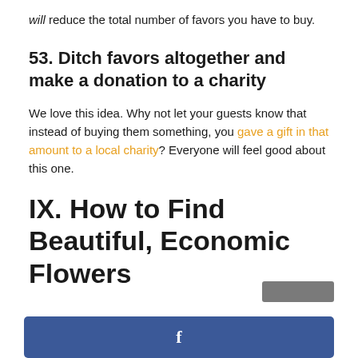will reduce the total number of favors you have to buy.
53. Ditch favors altogether and make a donation to a charity
We love this idea. Why not let your guests know that instead of buying them something, you gave a gift in that amount to a local charity? Everyone will feel good about this one.
IX. How to Find Beautiful, Economic Flowers
[Figure (other): Gray rounded rectangle button element]
[Figure (other): Facebook share button bar with 'f' icon, blue background]